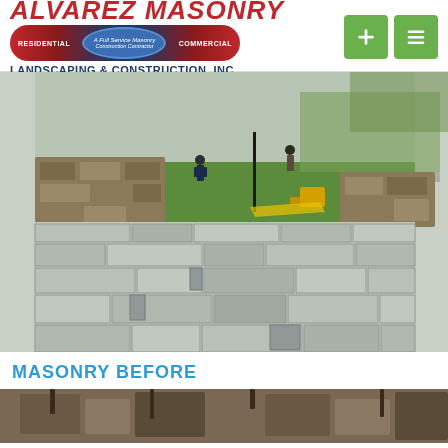[Figure (logo): Alvarez Masonry Landscaping & Construction, Inc. logo with red italic company name, blue oval badge reading 'A Full Service Masonry Construction Contractor' with RESIDENTIAL and COMMERCIAL text, and blue subtitle text]
[Figure (other): Two green navigation buttons — a plus icon and a list/menu icon]
[Figure (photo): Outdoor patio construction photo showing large bluestone/slate paver tiles in a pattern, with stone retaining walls in the background, two workers visible, green grass, trees, and construction equipment]
MASONRY BEFORE
[Figure (photo): Partial view of another outdoor construction or landscaping scene at the bottom of the page, showing natural stone or wood elements against a wooded background]